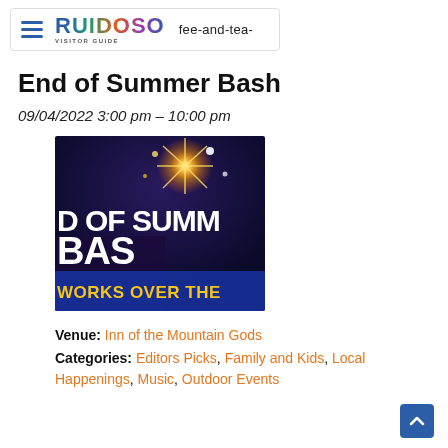Ruidoso Visitor Guide — fee-and-tea-
End of Summer Bash
09/04/2022 3:00 pm – 10:00 pm
[Figure (photo): Event poster for End of Summer Bash showing fireworks at night with bold white text 'ID OF SUMMER BASH' and yellow text 'WORKS OVER THE' on a dark blue background]
Venue: Inn of the Mountain Gods
Categories: Editors Picks, Family and Kids, Local Happenings, Music, Outdoor Events